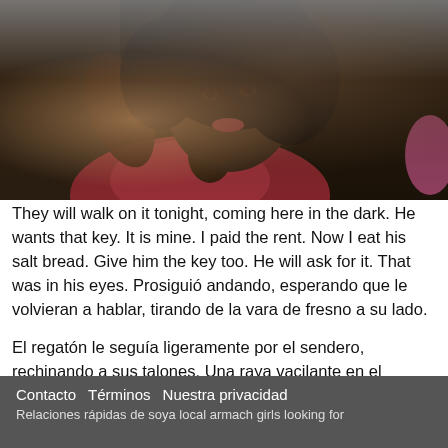[Figure (photo): Close-up portrait of a young Black woman with natural curly hair, wearing a red/pink top, photographed in a dark environment. She is looking slightly to the side with a serious expression.]
They will walk on it tonight, coming here in the dark. He wants that key. It is mine. I paid the rent. Now I eat his salt bread. Give him the key too. He will ask for it. That was in his eyes. Prosiguió andando, esperando que le volvieran a hablar, tirando de la vara de fresno a su lado.
El regatón le seguía ligeramente por el sendero, rechinando a sus talones. Una raya vacilante en el sendero. Él quiere esa llave.
Contacto   Términos   Nuestra privacidad
Relaciones rápidas de soya local armach girls looking for